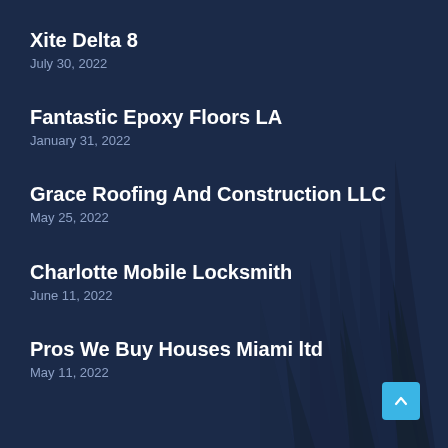Xite Delta 8
July 30, 2022
Fantastic Epoxy Floors LA
January 31, 2022
Grace Roofing And Construction LLC
May 25, 2022
Charlotte Mobile Locksmith
June 11, 2022
Pros We Buy Houses Miami ltd
May 11, 2022